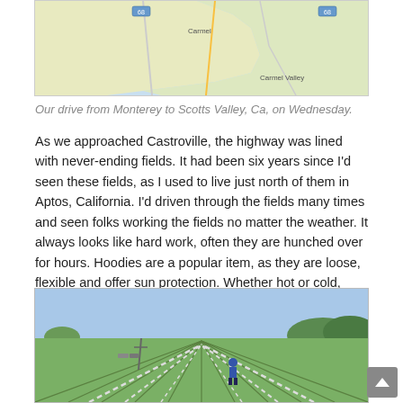[Figure (map): Partial Google Map showing coastline near Monterey and Carmel Valley, California, with highway routes visible.]
Our drive from Monterey to Scotts Valley, Ca, on Wednesday.
As we approached Castroville, the highway was lined with never-ending fields. It had been six years since I’d seen these fields, as I used to live just north of them in Aptos, California. I’d driven through the fields many times and seen folks working the fields no matter the weather. It always looks like hard work, often they are hunched over for hours. Hoodies are a popular item, as they are loose, flexible and offer sun protection. Whether hot or cold, field hands wear them.
[Figure (photo): A wide agricultural field with rows of crops stretching to the horizon. A worker in a hoodie is visible in the middle of the field. Blue sky above, trees and hills in the background.]